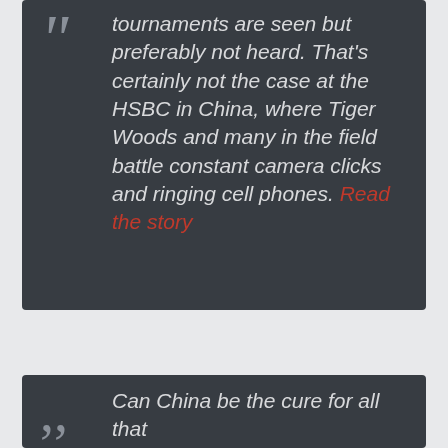tournaments are seen but preferably not heard. That's certainly not the case at the HSBC in China, where Tiger Woods and many in the field battle constant camera clicks and ringing cell phones. Read the story
Can China be the cure for all that